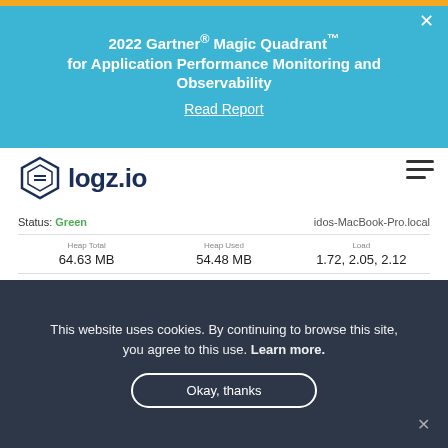2022 Gartner® Magic Quadrant™ for Application Performance Monitoring and Observability
Read Report
[Figure (logo): logz.io logo with hexagonal box icon and bold logz.io text]
Status: Green
idos-MacBook-Pro.local
| Heap Total | Heap Used | Load |
| --- | --- | --- |
| 64.63 MB | 54.48 MB | 1.72, 2.05, 2.12 |
| Response Time Avg | Response Time Max | Requests Per Second |
| --- | --- | --- |
| 0.00 ms | 0.00 ms | 0.00 |
|  |  |
| --- | --- |
| plug-status@0.1.2 | ✓ Okay |
| plug-relation-url@0.0.1.2 | ✓ Okay |
| plug-mongoose.js-1.2 | ✓ Okay |
| plug-infra@0.8.1.2 | ✓ Okay |
| plug-rdr-else@0.1.2 | ✓ Okay |
This website uses cookies. By continuing to browse this site, you agree to this use. Learn more.
Okay, thanks